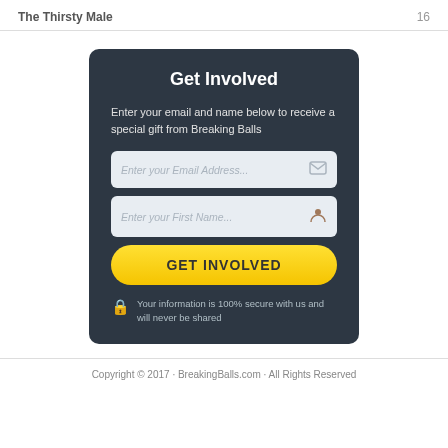The Thirsty Male	16
Get Involved
Enter your email and name below to receive a special gift from Breaking Balls
[Figure (screenshot): Email input field with placeholder text 'Enter your Email Address...' and envelope icon]
[Figure (screenshot): First name input field with placeholder text 'Enter your First Name...' and person icon]
[Figure (screenshot): Yellow rounded button labeled 'GET INVOLVED']
Your information is 100% secure with us and will never be shared
Copyright © 2017 · BreakingBalls.com · All Rights Reserved